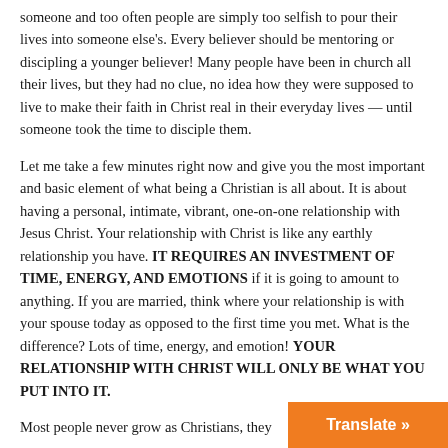someone and too often people are simply too selfish to pour their lives into someone else's. Every believer should be mentoring or discipling a younger believer! Many people have been in church all their lives, but they had no clue, no idea how they were supposed to live to make their faith in Christ real in their everyday lives — until someone took the time to disciple them.
Let me take a few minutes right now and give you the most important and basic element of what being a Christian is all about. It is about having a personal, intimate, vibrant, one-on-one relationship with Jesus Christ. Your relationship with Christ is like any earthly relationship you have. IT REQUIRES AN INVESTMENT OF TIME, ENERGY, AND EMOTIONS if it is going to amount to anything. If you are married, think where your relationship is with your spouse today as opposed to the first time you met. What is the difference? Lots of time, energy, and emotion! YOUR RELATIONSHIP WITH CHRIST WILL ONLY BE WHAT YOU PUT INTO IT.
Most people never grow as Christians, they